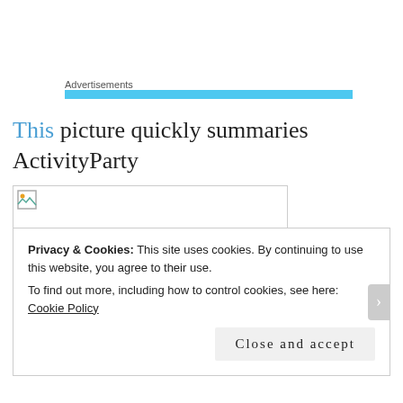Advertisements
This picture quickly summaries ActivityParty
[Figure (other): Broken/missing image placeholder box with small image icon in top-left corner]
Privacy & Cookies: This site uses cookies. By continuing to use this website, you agree to their use.
To find out more, including how to control cookies, see here: Cookie Policy
Close and accept